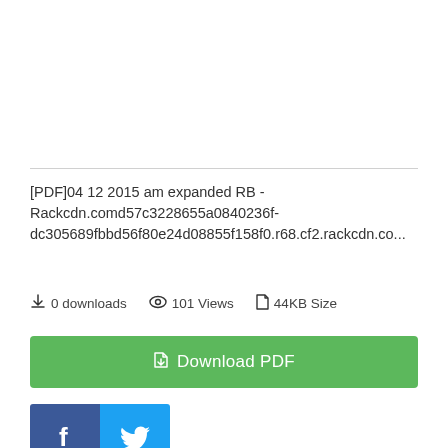[PDF]04 12 2015 am expanded RB - Rackcdn.comd57c3228655a0840236f-dc305689fbbd56f80e24d08855f158f0.r68.cf2.rackcdn.co...
0 downloads  101 Views  44KB Size
Download PDF
[Figure (other): Facebook and Twitter social share buttons]